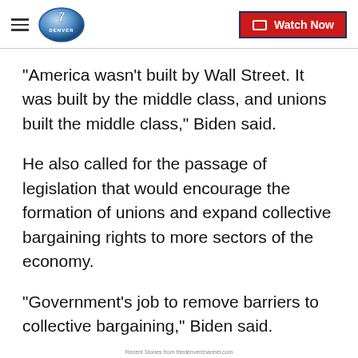Denver 7 – Watch Now
"America wasn't built by Wall Street. It was built by the middle class, and unions built the middle class," Biden said.
He also called for the passage of legislation that would encourage the formation of unions and expand collective bargaining rights to more sectors of the economy.
"Government's job to remove barriers to collective bargaining," Biden said.
Recent Stories from thedenverchannel.com